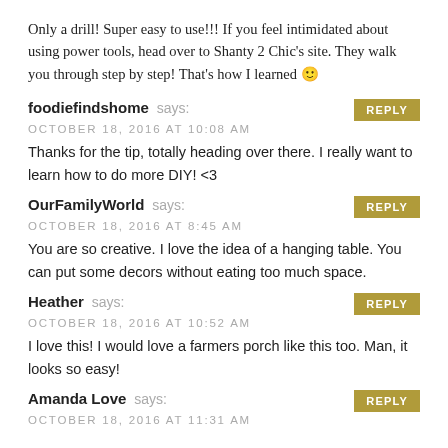Only a drill! Super easy to use!!! If you feel intimidated about using power tools, head over to Shanty 2 Chic's site. They walk you through step by step! That's how I learned 🙂
foodiefindshome says:
OCTOBER 18, 2016 AT 10:08 AM
Thanks for the tip, totally heading over there. I really want to learn how to do more DIY! <3
OurFamilyWorld says:
OCTOBER 18, 2016 AT 8:45 AM
You are so creative. I love the idea of a hanging table. You can put some decors without eating too much space.
Heather says:
OCTOBER 18, 2016 AT 10:52 AM
I love this! I would love a farmers porch like this too. Man, it looks so easy!
Amanda Love says:
OCTOBER 18, 2016 AT 11:31 AM